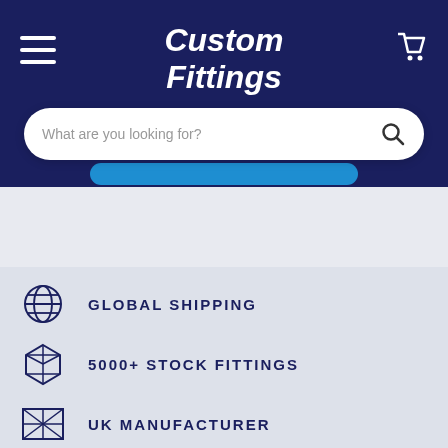Custom Fittings
What are you looking for?
GLOBAL SHIPPING
5000+ STOCK FITTINGS
UK MANUFACTURER